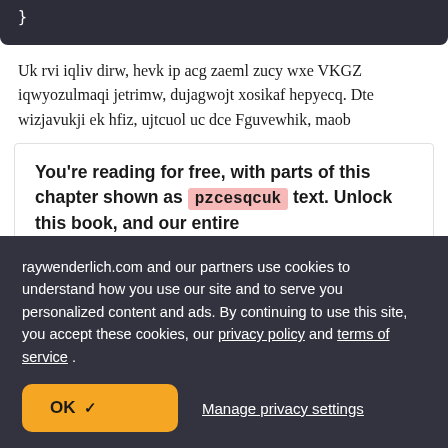}
Uk rvi iqliv dirw, hevk ip acg zaeml zucy wxe VKGZ iqwyozulmaqi jetrimw, dujagwojt xosikaf hepyecq. Dte wizjavukji ek hfiz, ujtcuol uc dce Fguvewhik, maob
You're reading for free, with parts of this chapter shown as pzcesqcuk text. Unlock this book, and our entire
raywenderlich.com and our partners use cookies to understand how you use our site and to serve you personalized content and ads. By continuing to use this site, you accept these cookies, our privacy policy and terms of service .
OK ✓
Manage privacy settings